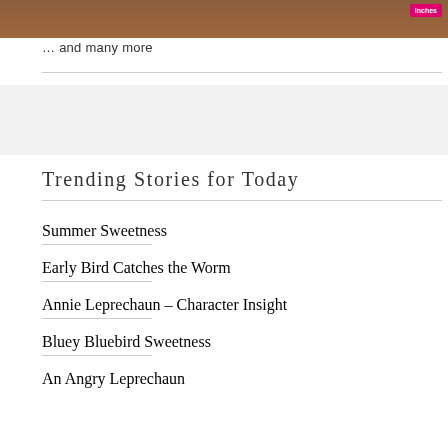[Figure (photo): Partial top image strip showing a wooden background scene with people, and a pink 'Inches' badge in the upper right corner.]
… and many more
Trending Stories for Today
Summer Sweetness
Early Bird Catches the Worm
Annie Leprechaun – Character Insight
Bluey Bluebird Sweetness
An Angry Leprechaun